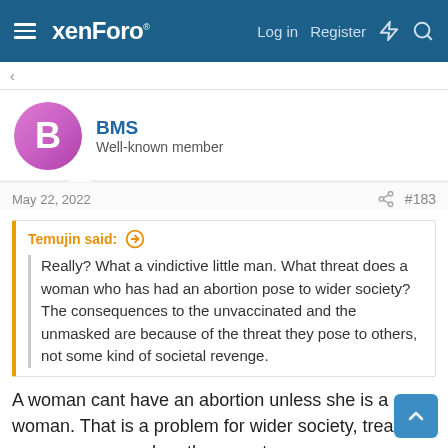xenForo — Log in  Register
BMS
Well-known member
May 22, 2022  #183
Temujin said: ↑
Really? What a vindictive little man. What threat does a woman who has had an abortion pose to wider society? The consequences to the unvaccinated and the unmasked are because of the threat they pose to others, not some kind of societal revenge.
A woman cant have an abortion unless she is a woman. That is a problem for wider society, treating men as women when they arent.
And dont say its not relevant because it is you who is talking about women. Your ideology poses a massive threat